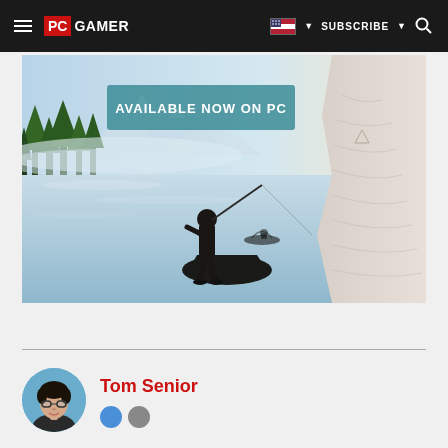PC GAMER — SUBSCRIBE
[Figure (illustration): PC Gamer website screenshot showing a navigation bar with hamburger menu, PC GAMER logo, flag/country selector, SUBSCRIBE button, and search icon. Below is an advertisement banner for a fishing game showing a fisherman silhouette standing on a rock by a misty lake with mountains and forest, with text 'AVAILABLE NOW ON PC'. Below a horizontal separator is an author profile section showing Tom Senior's avatar and name in red.]
Tom Senior